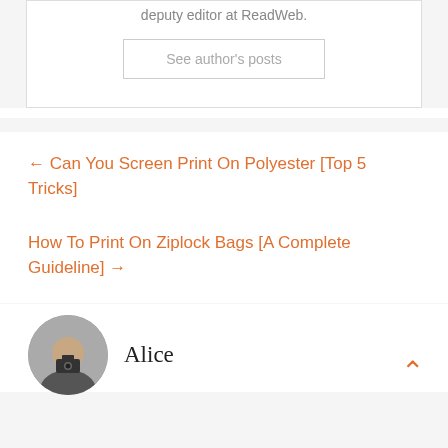deputy editor at ReadWeb.
See author's posts
← Can You Screen Print On Polyester [Top 5 Tricks]
How To Print On Ziplock Bags [A Complete Guideline] →
Alice
[Figure (photo): Circular avatar photo of a person holding a camera]